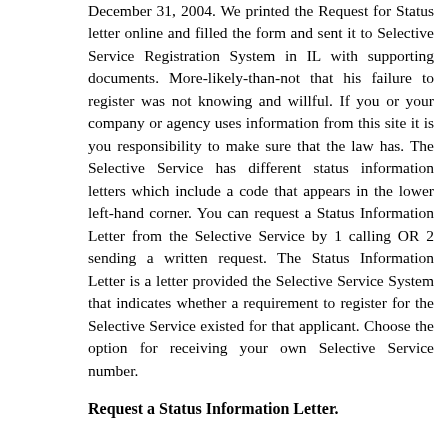December 31, 2004. We printed the Request for Status letter online and filled the form and sent it to Selective Service Registration System in IL with supporting documents. More-likely-than-not that his failure to register was not knowing and willful. If you or your company or agency uses information from this site it is you responsibility to make sure that the law has. The Selective Service has different status information letters which include a code that appears in the lower left-hand corner. You can request a Status Information Letter from the Selective Service by 1 calling OR 2 sending a written request. The Status Information Letter is a letter provided the Selective Service System that indicates whether a requirement to register for the Selective Service existed for that applicant. Choose the option for receiving your own Selective Service number.
Request a Status Information Letter.